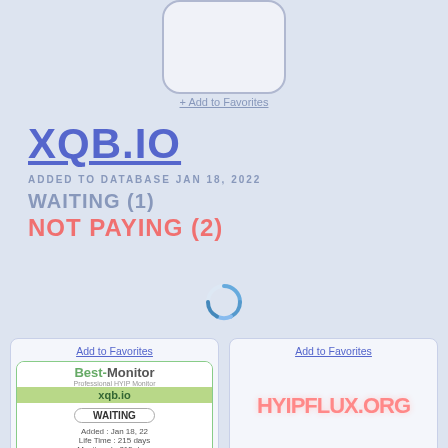[Figure (other): Rounded rectangle logo placeholder box at top center]
+ Add to Favorites
XQB.IO
ADDED TO DATABASE JAN 18, 2022
WAITING (1)
NOT PAYING (2)
[Figure (other): Circular loading spinner icon]
Add to Favorites
[Figure (other): Best-Monitor HYIP monitor badge showing xqb.io, WAITING status, Added Jan 18 22, Life Time 215 days, Monitored 215 days, Investment $0, Payout Ratio 0%, Last Payout N/A]
Add to Favorites
[Figure (other): HYIPFLUX.ORG logo in red distressed font]